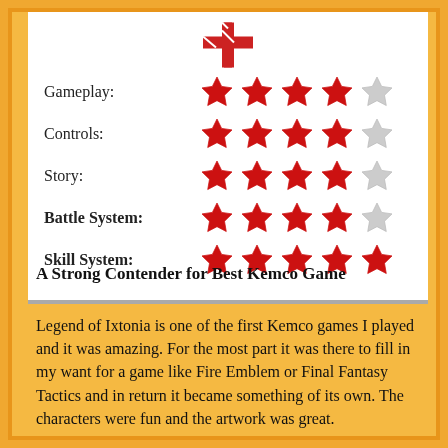[Figure (infographic): Star rating card showing 5 categories. Gameplay: 4/5 stars, Controls: 4/5 stars, Story: 4/5 stars, Battle System: 4/5 stars, Skill System: 5/5 stars. Red filled stars and gray empty stars.]
A Strong Contender for Best Kemco Game
Legend of Ixtonia is one of the first Kemco games I played and it was amazing. For the most part it was there to fill in my want for a game like Fire Emblem or Final Fantasy Tactics and in return it became something of its own. The characters were fun and the artwork was great.
The game gives you an Avatar to help immerse